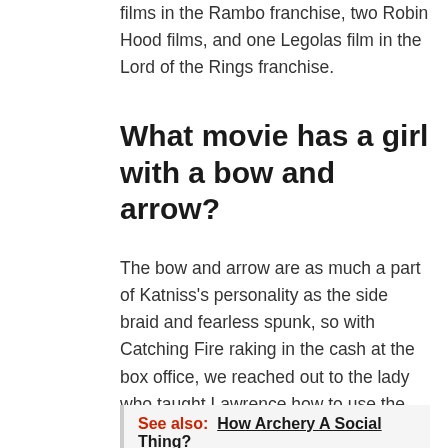films in the Rambo franchise, two Robin Hood films, and one Legolas film in the Lord of the Rings franchise.
What movie has a girl with a bow and arrow?
The bow and arrow are as much a part of Katniss’s personality as the side braid and fearless spunk, so with Catching Fire raking in the cash at the box office, we reached out to the lady who taught Lawrence how to use the cumbersome equipment with the same dexterity and precision as Katniss does.
See also:  How Archery A Social Thing?